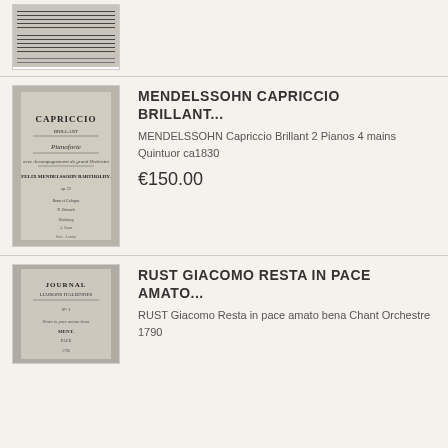[Figure (photo): Sheet music manuscript image, top portion visible]
[Figure (photo): Title page of Mendelssohn Capriccio Brillant for Pianoforte, Felix Mendelssohn Bartholdy, ca1830]
MENDELSSOHN CAPRICCIO BRILLANT...
MENDELSSOHN Capriccio Brillant 2 Pianos 4 mains Quintuor ca1830
€150.00
[Figure (photo): Title page of Journal Liaisons Italiennes music manuscript]
RUST GIACOMO RESTA IN PACE AMATO...
RUST Giacomo Resta in pace amato bena Chant Orchestre 1790